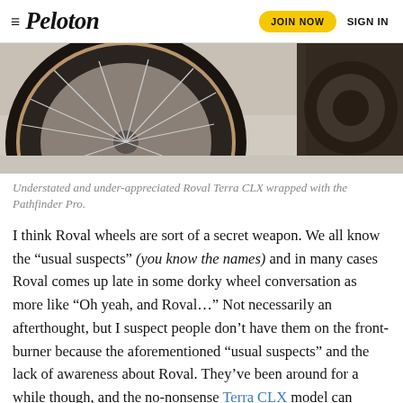≡ Peloton   JOIN NOW   SIGN IN
[Figure (photo): Close-up photo of a bicycle wheel (Roval Terra CLX) with tan-sidewall tire and spokes visible, alongside part of the drivetrain, on a light background.]
Understated and under-appreciated Roval Terra CLX wrapped with the Pathfinder Pro.
I think Roval wheels are sort of a secret weapon. We all know the “usual suspects” (you know the names) and in many cases Roval comes up late in some dorky wheel conversation as more like “Oh yeah, and Roval…” Not necessarily an afterthought, but I suspect people don’t have them on the front-burner because the aforementioned “usual suspects” and the lack of awareness about Roval. They’ve been around for a while though, and the no-nonsense Terra CLX model can